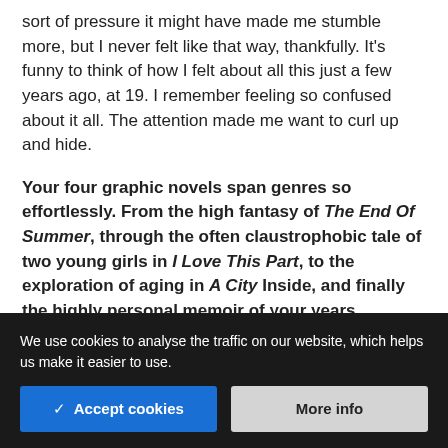sort of pressure it might have made me stumble more, but I never felt like that way, thankfully. It's funny to think of how I felt about all this just a few years ago, at 19. I remember feeling so confused about it all. The attention made me want to curl up and hide.
Your four graphic novels span genres so effortlessly. From the high fantasy of The End Of Summer, through the often claustrophobic tale of two young girls in I Love This Part, to the exploration of aging in A City Inside, and finally the highly personal memoir of your years
We use cookies to analyse the traffic on our website, which helps us make it easier to use.